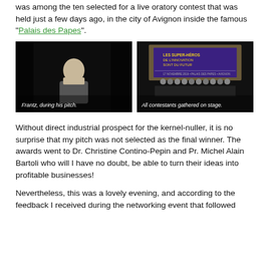was among the ten selected for a live oratory contest that was held just a few days ago, in the city of Avignon inside the famous “Palais des Papes”.
[Figure (photo): Two side-by-side photos from a live oratory contest. Left: a man (Frantz) at a podium during his pitch, lit dramatically against a dark background. Right: all contestants gathered on stage in front of a large projection screen showing event branding.]
Frantz, during his pitch.
All contestants gathered on stage.
Without direct industrial prospect for the kernel-nuller, it is no surprise that my pitch was not selected as the final winner. The awards went to Dr. Christine Contino-Pepin and Pr. Michel Alain Bartoli who will I have no doubt, be able to turn their ideas into profitable businesses!
Nevertheless, this was a lovely evening, and according to the feedback I received during the networking event that followed